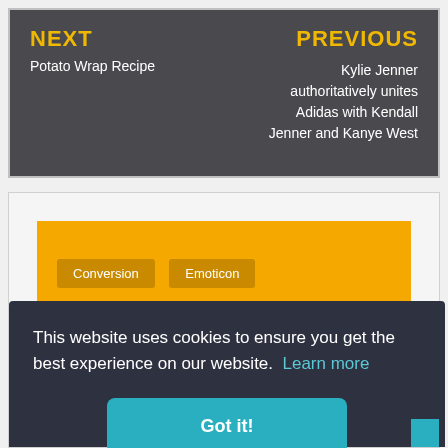NEXT
Potato Wrap Recipe
PREVIOUS
Kylie Jenner authoritatively unites Adidas with Kendall Jenner and Kanye West
Conversion
Emoticon
This website uses cookies to ensure you get the best experience on our website.  Learn more
Got it!